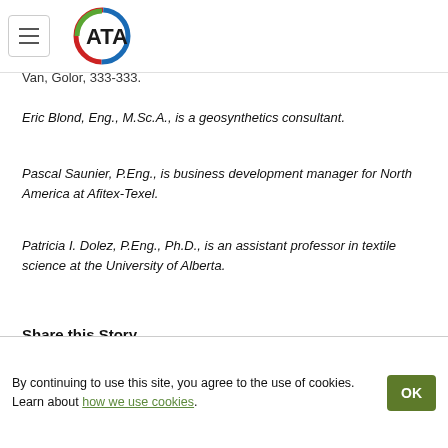ATA logo and navigation menu
Van, Golor, 333-333.
Eric Blond, Eng., M.Sc.A., is a geosynthetics consultant.
Pascal Saunier, P.Eng., is business development manager for North America at Afitex-Texel.
Patricia I. Dolez, P.Eng., Ph.D., is an assistant professor in textile science at the University of Alberta.
Share this Story
[Figure (other): Social sharing buttons: Facebook, LinkedIn, Twitter]
By continuing to use this site, you agree to the use of cookies. Learn about how we use cookies.